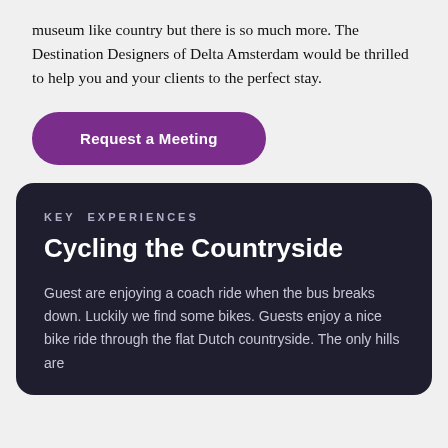museum like country but there is so much more. The Destination Designers of Delta Amsterdam would be thrilled to help you and your clients to the perfect stay.
[Figure (other): A purple rounded button labeled 'Request a Meeting']
KEY EXPERIENCES
Cycling the Countryside
Guest are enjoying a coach ride when the bus breaks down. Luckily we find some bikes. Guests enjoy a nice bike ride through the flat Dutch countryside. The only hills are